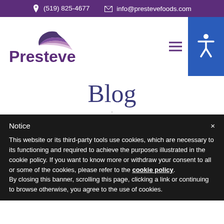(519) 825-4677  info@prestevefoods.com
[Figure (logo): Presteve Foods logo with stylized wing/leaf mark above the word Presteve in purple]
Blog
Notice
This website or its third-party tools use cookies, which are necessary to its functioning and required to achieve the purposes illustrated in the cookie policy. If you want to know more or withdraw your consent to all or some of the cookies, please refer to the cookie policy. By closing this banner, scrolling this page, clicking a link or continuing to browse otherwise, you agree to the use of cookies.